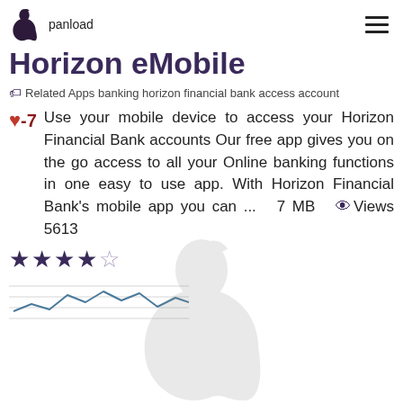panload
Horizon eMobile
Related Apps banking horizon financial bank access account
-7  Use your mobile device to access your Horizon Financial Bank accounts Our free app gives you on the go access to all your Online banking functions in one easy to use app. With Horizon Financial Bank's mobile app you can ...  7 MB  Views 5613
[Figure (other): Star rating: 4 out of 5 stars, with a small line chart thumbnail below showing rating trends over time]
[Figure (logo): Large faded Apple logo watermark in the lower half of the page]